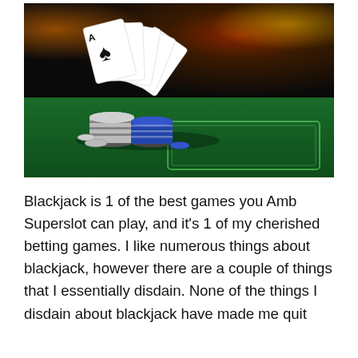[Figure (photo): Photo of playing cards fanned out showing A, K, Q, J, 10 of spades standing upright on a green casino blackjack table, with stacks of black and blue poker chips in the foreground, and blurred casino lights in the background.]
Blackjack is 1 of the best games you Amb Superslot can play, and it's 1 of my cherished betting games. I like numerous things about blackjack, however there are a couple of things that I essentially disdain. None of the things I disdain about blackjack have made me quit